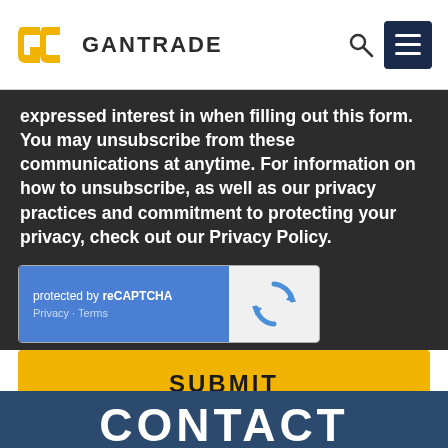Gantrade
expressed interest in when filling out this form. You may unsubscribe from these communications at anytime. For information on how to unsubscribe, as well as our privacy practices and commitment to protecting your privacy, check out our Privacy Policy.
[Figure (other): reCAPTCHA widget showing 'protected by reCAPTCHA' with Privacy and Terms links, and the reCAPTCHA logo on the right]
SUBMIT
CONTACT